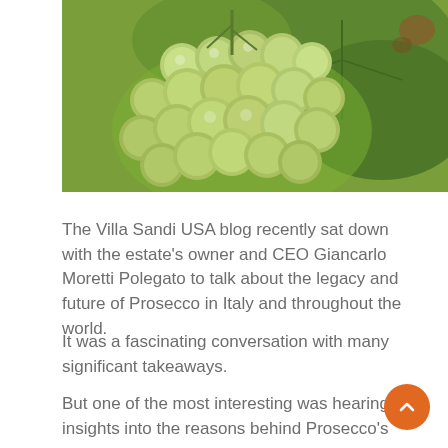[Figure (photo): Close-up photograph of green grapes on a vine with leaves in the background]
The Villa Sandi USA blog recently sat down with the estate's owner and CEO Giancarlo Moretti Polegato to talk about the legacy and future of Prosecco in Italy and throughout the world.
It was a fascinating conversation with many significant takeaways.
But one of the most interesting was hearing his insights into the reasons behind Prosecco's